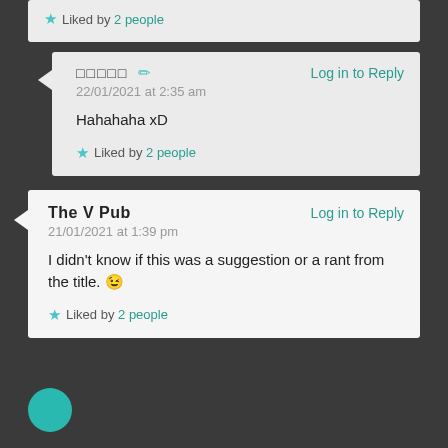★ Liked by 2 people
□□□□□ ✏  Log in to Reply
22/01/2021 at 2:35 am
Hahahaha xD
★ Liked by 2 people
The V Pub  Log in to Reply
21/01/2021 at 1:39 pm
I didn't know if this was a suggestion or a rant from the title. 😉
★ Liked by 2 people
[Figure (other): Partial teal avatar circle at bottom of page]